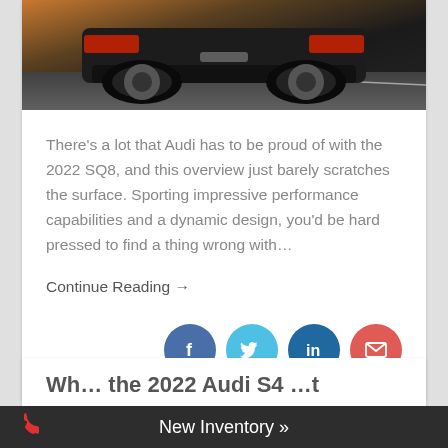[Figure (photo): Rear view of a dark-colored Audi SQ8 on a road, showing exhaust pipes and rear bumper with dramatic lighting]
There's a lot that Audi has to be proud of with the 2022 SQ8, and this overview just barely scratches the surface. Sporting impressive performance capabilities and a dynamic design, you'd be hard pressed to find a thing wrong with…
Continue Reading →
[Figure (other): Social sharing icons: Facebook, Twitter, LinkedIn, Email]
Wh… the 2022 Audi S4 …t
New Inventory »